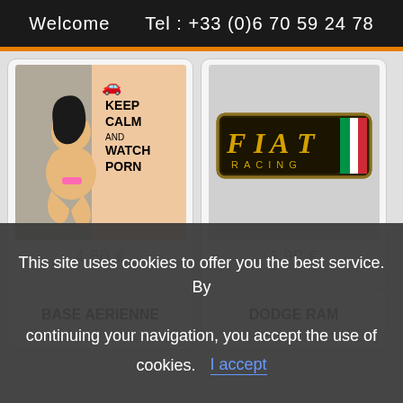Welcome    Tel : +33 (0)6 70 59 24 78
[Figure (illustration): Product sticker image: cartoon pin-up figure with 'KEEP CALM AND WATCH PORN' text on pink/beige background]
4,50 €
[Figure (logo): FIAT RACING logo badge with Italian flag colors on dark background]
4,90 €
BASE AERIENNE
DODGE RAM
This site uses cookies to offer you the best service. By continuing your navigation, you accept the use of cookies.
I accept